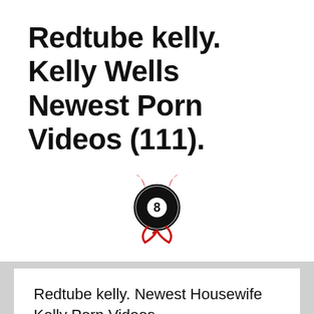Redtube kelly. Kelly Wells Newest Porn Videos (111).
[Figure (logo): Devil 8-ball logo: a black billiard 8-ball with red devil horns on top and a red devil tail/swirl below, encircled by a thin black ring]
Redtube kelly. Newest Housewife Kelly Porn Videos.
Posted on 25.12.2018 by Voodoojar
Video by theme: